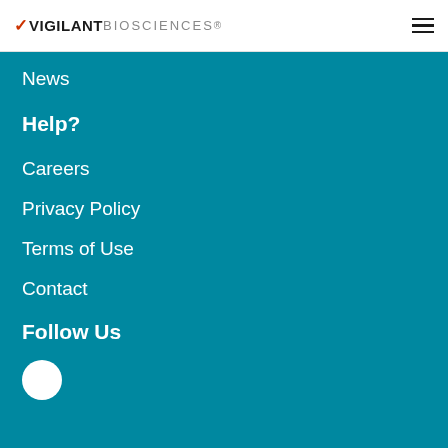VIGILANT BIOSCIENCES
News
Help?
Careers
Privacy Policy
Terms of Use
Contact
Follow Us